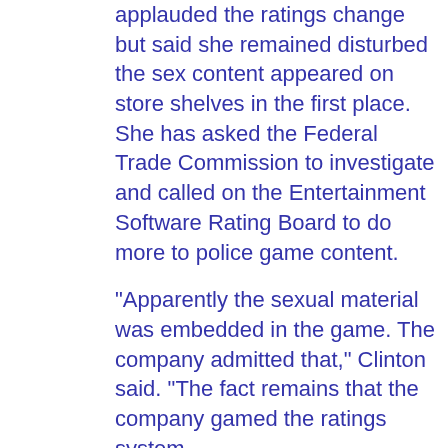applauded the ratings change but said she remained disturbed the sex content appeared on store shelves in the first place. She has asked the Federal Trade Commission to investigate and called on the Entertainment Software Rating Board to do more to police game content.
"Apparently the sexual material was embedded in the game. The company admitted that," Clinton said. "The fact remains that the company gamed the ratings system.
Look at that GOP Jews. Two moral, religion and tradition respecting Democrats in one day. I guess its time to draft some new talking points, eh?
DovBear at 12:03 PM
Share
All honor Joe Leiberman